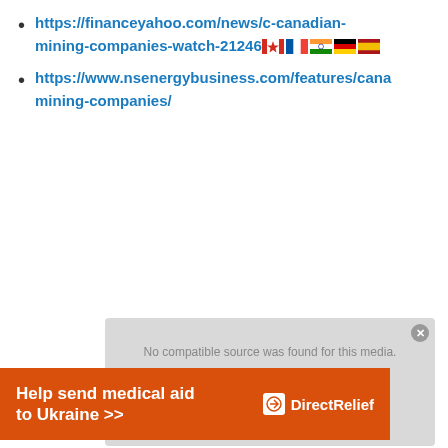https://financeyahoo.com/news/c-canadian-mining-companies-watch-21246 [flags]
https://www.nsenergybusiness.com/features/canadian-mining-companies/
[Figure (screenshot): Video player placeholder showing 'No compatible source was found for this media.' with a close button and play icon overlay.]
[Figure (screenshot): Orange advertisement banner reading 'Help send medical aid to Ukraine >>' with Direct Relief logo on the right.]